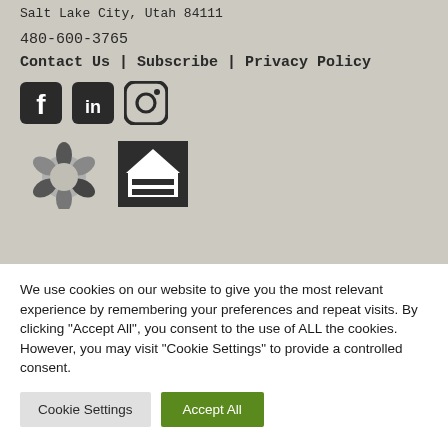Salt Lake City, Utah 84111
480-600-3765
Contact Us | Subscribe | Privacy Policy
[Figure (illustration): Social media icons: Facebook, LinkedIn, Instagram]
[Figure (logo): Diversity/equity logos: hands circle logo and equal housing opportunity logo]
We use cookies on our website to give you the most relevant experience by remembering your preferences and repeat visits. By clicking "Accept All", you consent to the use of ALL the cookies. However, you may visit "Cookie Settings" to provide a controlled consent.
Cookie Settings | Accept All